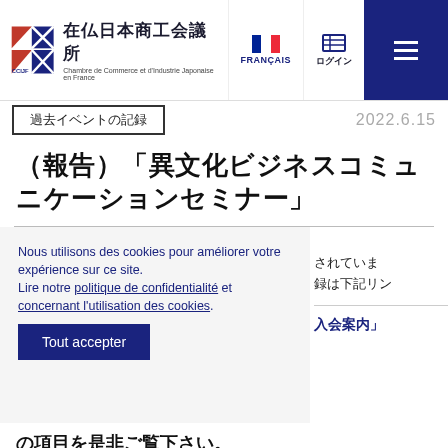[Figure (logo): CCIJF logo — red and blue geometric mark with Japanese and French text: 在仏日本商工会議所 / Chambre de Commerce et d'Industrie Japonaise en France]
FRANÇAIS　ログイン　[menu]
過去イベントの記録
2022.6.15
（報告）「異文化ビジネスコミュニケーションセミナー」
Nous utilisons des cookies pour améliorer votre expérience sur ce site.
Lire notre politique de confidentialité et concernant l'utilisation des cookies.
Tout accepter
されていま
録は下記リン
入会案内」
の項目を是非ご覧下さい。